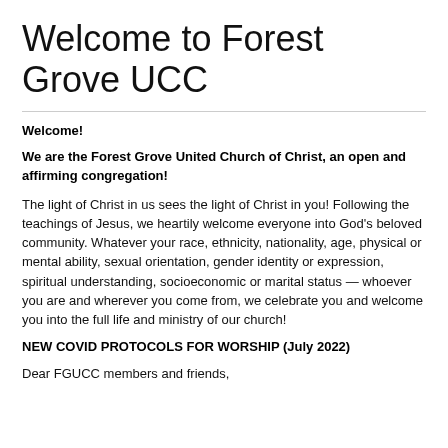Welcome to Forest Grove UCC
Welcome!
We are the Forest Grove United Church of Christ, an open and affirming congregation!
The light of Christ in us sees the light of Christ in you! Following the teachings of Jesus, we heartily welcome everyone into God's beloved community. Whatever your race, ethnicity, nationality, age, physical or mental ability, sexual orientation, gender identity or expression, spiritual understanding, socioeconomic or marital status — whoever you are and wherever you come from, we celebrate you and welcome you into the full life and ministry of our church!
NEW COVID PROTOCOLS FOR WORSHIP (July 2022)
Dear FGUCC members and friends,